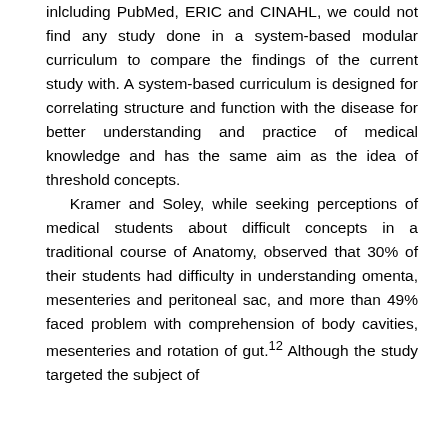inlcluding PubMed, ERIC and CINAHL, we could not find any study done in a system-based modular curriculum to compare the findings of the current study with. A system-based curriculum is designed for correlating structure and function with the disease for better understanding and practice of medical knowledge and has the same aim as the idea of threshold concepts. Kramer and Soley, while seeking perceptions of medical students about difficult concepts in a traditional course of Anatomy, observed that 30% of their students had difficulty in understanding omenta, mesenteries and peritoneal sac, and more than 49% faced problem with comprehension of body cavities, mesenteries and rotation of gut.12 Although the study targeted the subject of